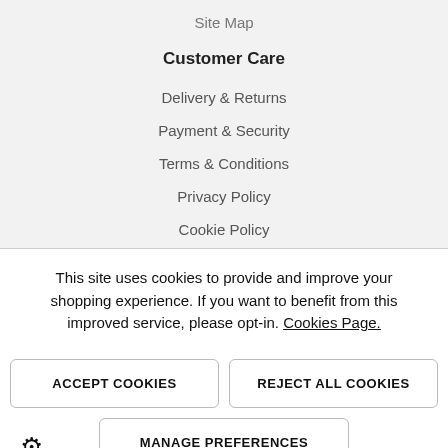Site Map
Customer Care
Delivery & Returns
Payment & Security
Terms & Conditions
Privacy Policy
Cookie Policy
This site uses cookies to provide and improve your shopping experience. If you want to benefit from this improved service, please opt-in. Cookies Page.
ACCEPT COOKIES
REJECT ALL COOKIES
MANAGE PREFERENCES